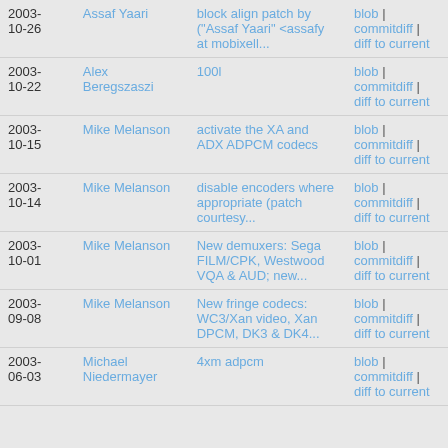| Date | Author | Message | Links |
| --- | --- | --- | --- |
| 2003-10-26 | Assaf Yaari | block align patch by ("Assaf Yaari" <assafy at mobixell... | blob | commitdiff | diff to current |
| 2003-10-22 | Alex Beregszaszi | 100l | blob | commitdiff | diff to current |
| 2003-10-15 | Mike Melanson | activate the XA and ADX ADPCM codecs | blob | commitdiff | diff to current |
| 2003-10-14 | Mike Melanson | disable encoders where appropriate (patch courtesy... | blob | commitdiff | diff to current |
| 2003-10-01 | Mike Melanson | New demuxers: Sega FILM/CPK, Westwood VQA & AUD; new... | blob | commitdiff | diff to current |
| 2003-09-08 | Mike Melanson | New fringe codecs: WC3/Xan video, Xan DPCM, DK3 & DK4... | blob | commitdiff | diff to current |
| 2003-06-03 | Michael Niedermayer | 4xm adpcm | blob | commitdiff | diff to current |